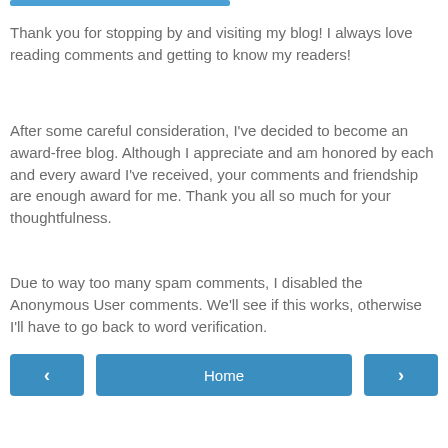Thank you for stopping by and visiting my blog! I always love reading comments and getting to know my readers!
After some careful consideration, I've decided to become an award-free blog. Although I appreciate and am honored by each and every award I've received, your comments and friendship are enough award for me. Thank you all so much for your thoughtfulness.
Due to way too many spam comments, I disabled the Anonymous User comments. We'll see if this works, otherwise I'll have to go back to word verification.
Home